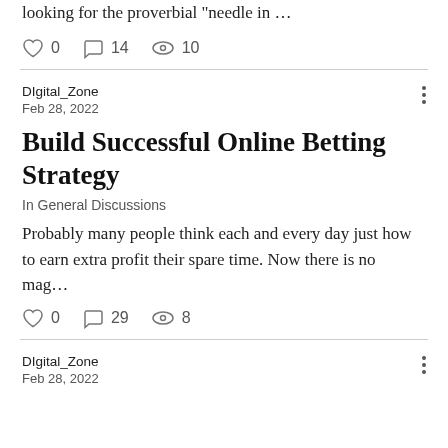looking for the proverbial "needle in …
0   14   10
DIgital_Zone
Feb 28, 2022
Build Successful Online Betting Strategy
In General Discussions
Probably many people think each and every day just how to earn extra profit their spare time. Now there is no mag…
0   29   8
DIgital_Zone
Feb 28, 2022